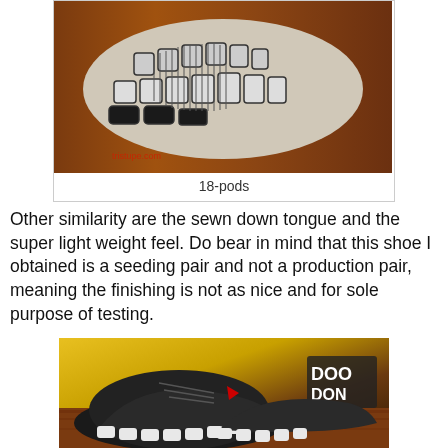[Figure (photo): Close-up photo of the sole/bottom of a running shoe showing 18-pods tread pattern, white foam pods separated by black grooves, on a wooden surface. Watermark: tristupe.com]
18-pods
Other similarity are the sewn down tongue and the super light weight feel. Do bear in mind that this shoe I obtained is a seeding pair and not a production pair, meaning the finishing is not as nice and for sole purpose of testing.
[Figure (photo): Photo of a pair of black running shoes with white sole pods, Li-Ning brand, placed on a wooden surface with a yellow garment and a sign reading 'DOO/DON' in the background.]